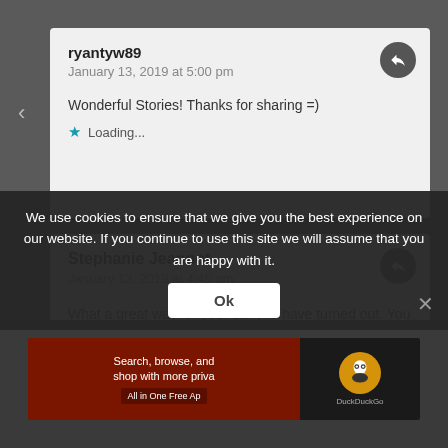ryantyw89
January 13, 2019 at 5:00 pm
Wonderful Stories! Thanks for sharing =)
Loading...
Stephanie Jeannot
January 13, 2019 at 4:45 pm
What a great way for your story to have turned out. You are so blessed and your kids, lucky to have you in their lives. God is so awesome. Thank you.
Loading...
Advertisements
Search, browse, and shop with more privacy All in One Free Ap
DuckDuckGo
We use cookies to ensure that we give you the best experience on our website. If you continue to use this site we will assume that you are happy with it.
Ok